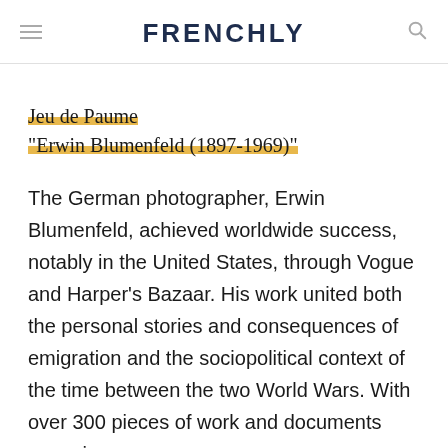FRENCHLY
Jeu de Paume
"Erwin Blumenfeld (1897-1969)"
The German photographer, Erwin Blumenfeld, achieved worldwide success, notably in the United States, through Vogue and Harper's Bazaar. His work united both the personal stories and consequences of emigration and the sociopolitical context of the time between the two World Wars. With over 300 pieces of work and documents spanning